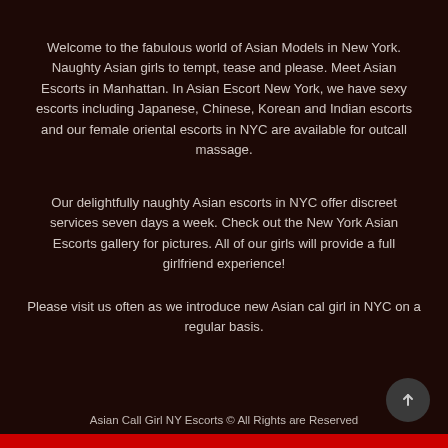Welcome to the fabulous world of Asian Models in New York. Naughty Asian girls to tempt, tease and please. Meet Asian Escorts in Manhattan. In Asian Escort New York, we have sexy escorts including Japanese, Chinese, Korean and Indian escorts and our female oriental escorts in NYC are available for outcall massage.
Our delightfully naughty Asian escorts in NYC offer discreet services seven days a week. Check out the New York Asian Escorts gallery for pictures. All of our girls will provide a full girlfriend experience!
Please visit us often as we introduce new Asian cal girl in NYC on a regular basis.
Asian Call Girl NY Escorts © All Rights are Reserved